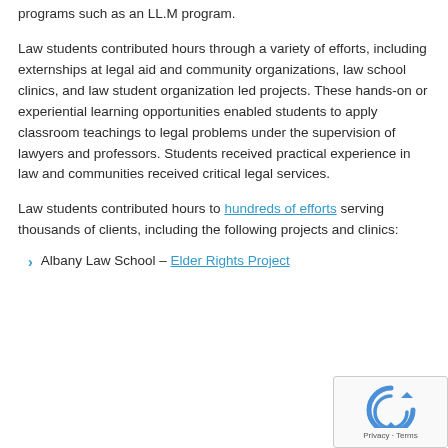programs such as an LL.M program.
Law students contributed hours through a variety of efforts, including externships at legal aid and community organizations, law school clinics, and law student organization led projects. These hands-on or experiential learning opportunities enabled students to apply classroom teachings to legal problems under the supervision of lawyers and professors. Students received practical experience in law and communities received critical legal services.
Law students contributed hours to hundreds of efforts serving thousands of clients, including the following projects and clinics:
Albany Law School – Elder Rights Project